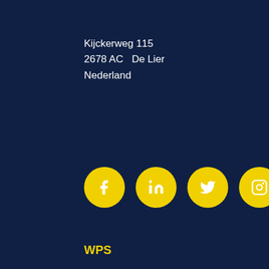Kijckerweg 115
2678 AC  De Lier
Nederland
[Figure (infographic): Five yellow circular social media icon buttons: Facebook, LinkedIn, Twitter, Instagram, YouTube]
WPS
About us
News
Jobs at WPS
Free downloads
Our customers